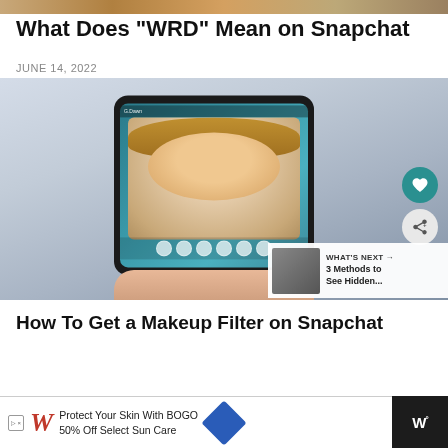[Figure (photo): Top strip image — partial photo cropped at top of page]
What Does “WRD” Mean on Snapchat
JUNE 14, 2022
[Figure (photo): Photo of a person holding a tablet showing a Snapchat makeup filter on a selfie. Social sharing buttons (heart and share) visible on the right. A 'WHAT'S NEXT' overlay in the corner shows '3 Methods to See Hidden...']
How To Get a Makeup Filter on Snapchat
[Figure (infographic): Advertisement banner: Walgreens ad - Protect Your Skin With BOGO 50% Off Select Sun Care]